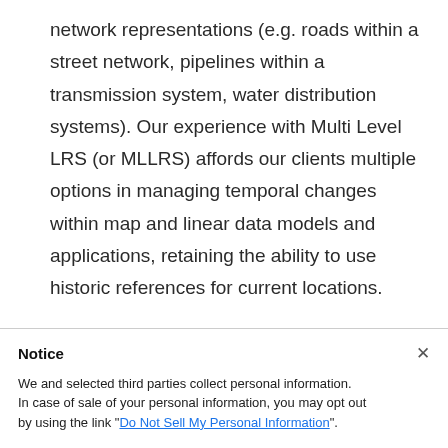network representations (e.g. roads within a street network, pipelines within a transmission system, water distribution systems). Our experience with Multi Level LRS (or MLLRS) affords our clients multiple options in managing temporal changes within map and linear data models and applications, retaining the ability to use historic references for current locations.
Notice
We and selected third parties collect personal information. In case of sale of your personal information, you may opt out by using the link "Do Not Sell My Personal Information".